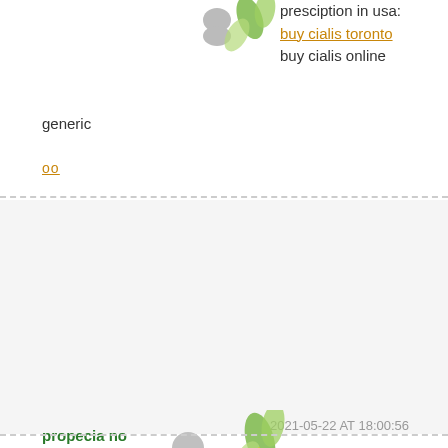presciption in usa: buy cialis toronto buy cialis online generic
oo
2021-05-22 AT 18:00:56
Ewqyx50
propecia no prescription bonus 98212
http://himshairloss.com finasteride 5 mg
oo